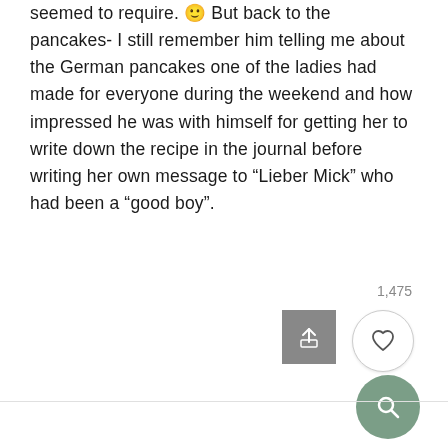seemed to require. 🙂 But back to the pancakes- I still remember him telling me about the German pancakes one of the ladies had made for everyone during the weekend and how impressed he was with himself for getting her to write down the recipe in the journal before writing her own message to “Lieber Mick” who had been a “good boy”.
1,475
[Figure (screenshot): Share/upload button (grey square with upward arrow), heart/like button (white circle with heart outline), and search button (green circle with magnifying glass icon)]